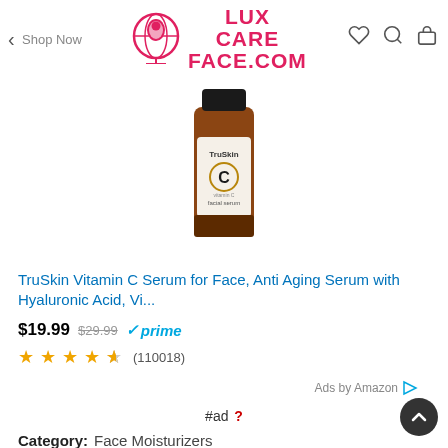LUX CARE FACE.COM — face & skin
[Figure (photo): TruSkin Vitamin C facial serum bottle, amber glass with black cap, labeled with TruSkin C vitamin C facial serum]
TruSkin Vitamin C Serum for Face, Anti Aging Serum with Hyaluronic Acid, Vi...
$19.99  $29.99  ✓prime
★★★★½ (110018)
Ads by Amazon
#ad ?
Category:  Face Moisturizers